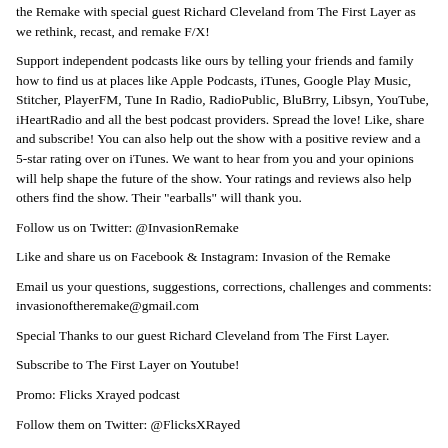the Remake with special guest Richard Cleveland from The First Layer as we rethink, recast, and remake F/X!
Support independent podcasts like ours by telling your friends and family how to find us at places like Apple Podcasts, iTunes, Google Play Music, Stitcher, PlayerFM, Tune In Radio, RadioPublic, BluBrry, Libsyn, YouTube, iHeartRadio and all the best podcast providers. Spread the love! Like, share and subscribe! You can also help out the show with a positive review and a 5-star rating over on iTunes. We want to hear from you and your opinions will help shape the future of the show. Your ratings and reviews also help others find the show. Their "earballs" will thank you.
Follow us on Twitter: @InvasionRemake
Like and share us on Facebook & Instagram: Invasion of the Remake
Email us your questions, suggestions, corrections, challenges and comments: invasionoftheremake@gmail.com
Special Thanks to our guest Richard Cleveland from The First Layer.
Subscribe to The First Layer on Youtube!
Promo: Flicks Xrayed podcast
Follow them on Twitter: @FlicksXRayed